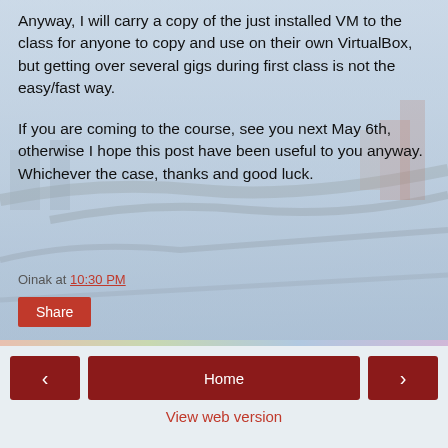Anyway, I will carry a copy of the just installed VM to the class for anyone to copy and use on their own VirtualBox, but getting over several gigs during first class is not the easy/fast way.
If you are coming to the course, see you next May 6th, otherwise I hope this post have been useful to you anyway. Whichever the case, thanks and good luck.
Oinak at 10:30 PM
[Figure (photo): Aerial photograph of a city with highways and roads, with a foggy/hazy atmosphere. The image serves as a background behind the blog post text.]
< Home > View web version